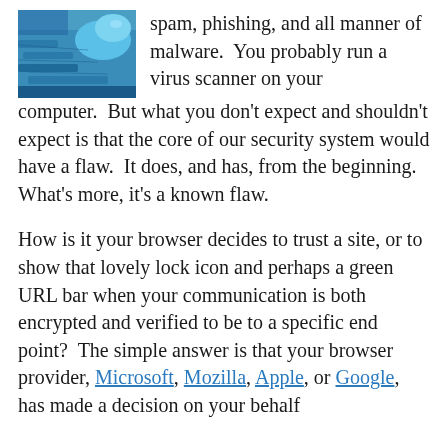[Figure (photo): A photo showing blue surgical gloves and medical garments, appearing to show a surgical or medical setting.]
spam, phishing, and all manner of malware.  You probably run a virus scanner on your computer.  But what you don't expect and shouldn't expect is that the core of our security system would have a flaw.  It does, and has, from the beginning.  What's more, it's a known flaw.
How is it your browser decides to trust a site, or to show that lovely lock icon and perhaps a green URL bar when your communication is both encrypted and verified to be to a specific end point?  The simple answer is that your browser provider, Microsoft, Mozilla, Apple, or Google, has made a decision on your behalf